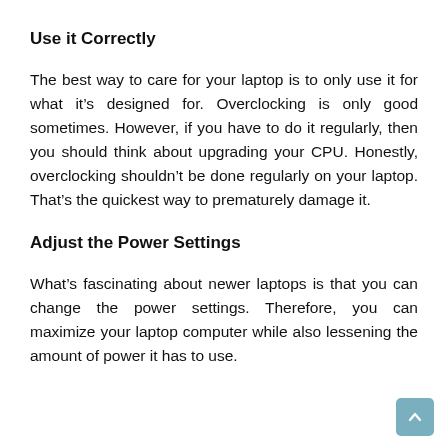Use it Correctly
The best way to care for your laptop is to only use it for what it’s designed for. Overclocking is only good sometimes. However, if you have to do it regularly, then you should think about upgrading your CPU. Honestly, overclocking shouldn’t be done regularly on your laptop. That’s the quickest way to prematurely damage it.
Adjust the Power Settings
What’s fascinating about newer laptops is that you can change the power settings. Therefore, you can maximize your laptop computer while also lessening the amount of power it has to use.